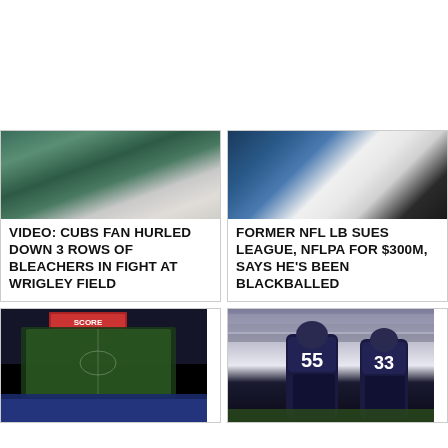[Figure (photo): Cubs fan at Wrigley Field bleachers, crowd scene]
VIDEO: CUBS FAN HURLED DOWN 3 ROWS OF BLEACHERS IN FIGHT AT WRIGLEY FIELD
[Figure (photo): NFL linebacker in white uniform with captain C patch and NFL logo]
FORMER NFL LB SUES LEAGUE, NFLPA FOR $300M, SAYS HE'S BEEN BLACKBALLED
[Figure (photo): Baseball stadium at night with scoreboard and crowd]
[Figure (photo): Chicago Bears players #55 and #33 on the field]